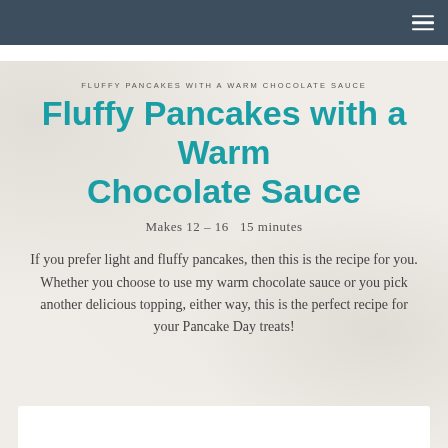FLUFFY PANCAKES WITH A WARM CHOCOLATE SAUCE
Fluffy Pancakes with a Warm Chocolate Sauce
Makes 12 - 16   15 minutes
If you prefer light and fluffy pancakes, then this is the recipe for you. Whether you choose to use my warm chocolate sauce or you pick another delicious topping, either way, this is the perfect recipe for your Pancake Day treats!